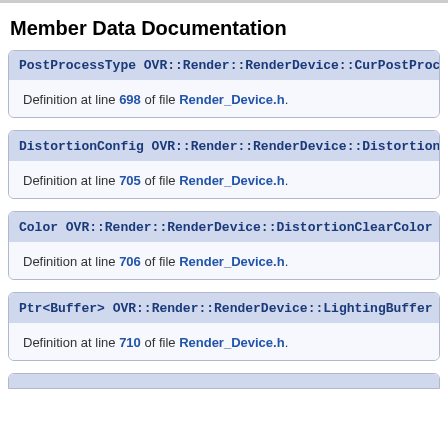Member Data Documentation
PostProcessType OVR::Render::RenderDevice::CurPostProcess [pr
Definition at line 698 of file Render_Device.h.
DistortionConfig OVR::Render::RenderDevice::Distortion [protecte
Definition at line 705 of file Render_Device.h.
Color OVR::Render::RenderDevice::DistortionClearColor [protecte
Definition at line 706 of file Render_Device.h.
Ptr<Buffer> OVR::Render::RenderDevice::LightingBuffer [protecte
Definition at line 710 of file Render_Device.h.